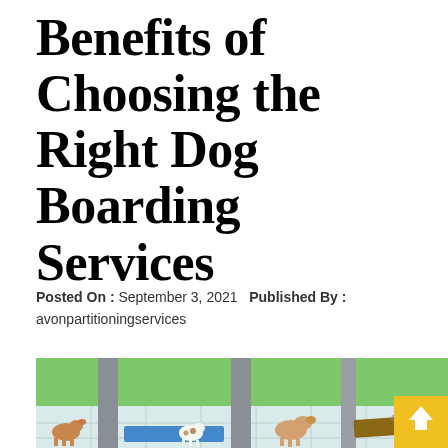Benefits of Choosing the Right Dog Boarding Services
Posted On : September 3, 2021    Published By : avonpartitioningservices
[Figure (photo): Interior of a dog boarding facility with green walls, white tile floors, blue play mat, wooden ramp, grey divider columns, and several dogs visible. A yellow arrow button is visible in the bottom right corner.]